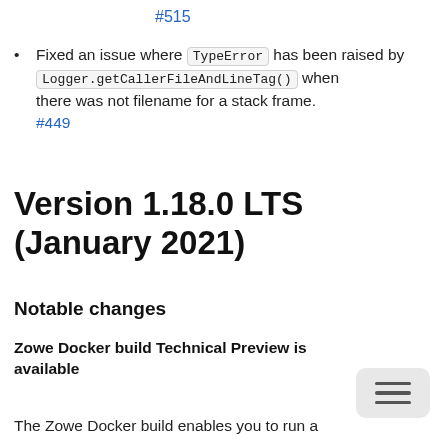#515
Fixed an issue where TypeError has been raised by Logger.getCallerFileAndLineTag() when there was not filename for a stack frame. #449
Version 1.18.0 LTS (January 2021)
Notable changes
Zowe Docker build Technical Preview is available
The Zowe Docker build enables you to run a